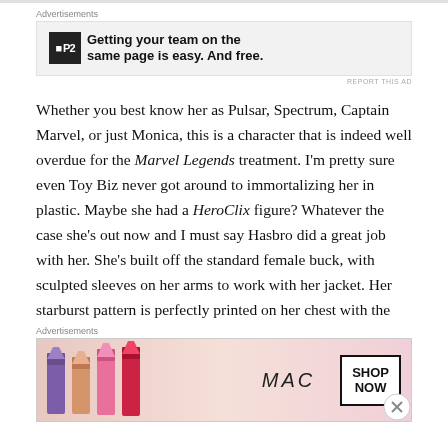[Figure (screenshot): Advertisement banner with P2 logo and text: Getting your team on the same page is easy. And free.]
Whether you best know her as Pulsar, Spectrum, Captain Marvel, or just Monica, this is a character that is indeed well overdue for the Marvel Legends treatment. I'm pretty sure even Toy Biz never got around to immortalizing her in plastic. Maybe she had a HeroClix figure? Whatever the case she's out now and I must say Hasbro did a great job with her. She's built off the standard female buck, with sculpted sleeves on her arms to work with her jacket. Her starburst pattern is perfectly printed on her chest with the
[Figure (screenshot): MAC cosmetics advertisement showing lipsticks with SHOP NOW button]